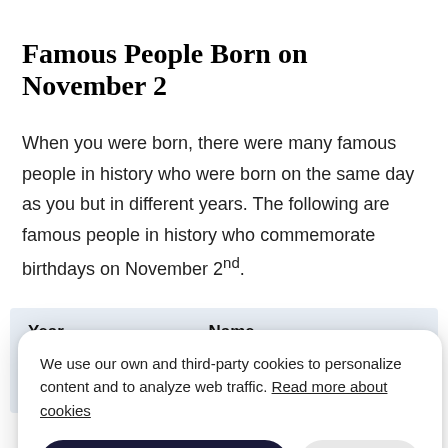Famous People Born on November 2
When you were born, there were many famous people in history who were born on the same day as you but in different years. The following are famous people in history who commemorate birthdays on November 2nd.
| Year | Name |
| --- | --- |
|  |  |
|  | (d. |
We use our own and third-party cookies to personalize content and to analyze web traffic. Read more about cookies
Accept cookies  Reject